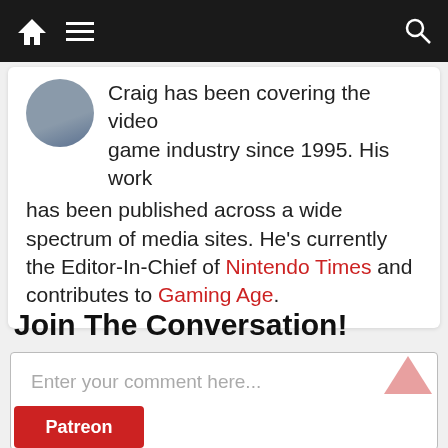Navigation bar with home icon, menu icon, search icon
Craig has been covering the video game industry since 1995. His work has been published across a wide spectrum of media sites. He's currently the Editor-In-Chief of Nintendo Times and contributes to Gaming Age.
Join The Conversation!
Enter your comment here...
This site uses Akismet to reduce spam. Learn how your comment data is processed.
[Figure (other): Patreon button (red background, white text)]